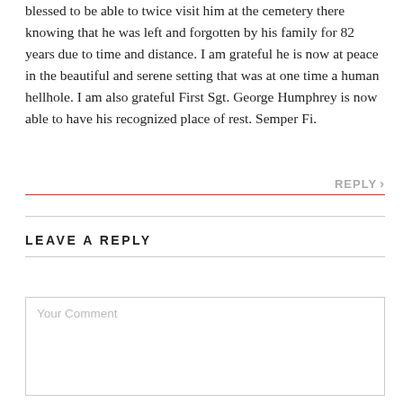blessed to be able to twice visit him at the cemetery there knowing that he was left and forgotten by his family for 82 years due to time and distance. I am grateful he is now at peace in the beautiful and serene setting that was at one time a human hellhole. I am also grateful First Sgt. George Humphrey is now able to have his recognized place of rest. Semper Fi.
REPLY ›
LEAVE A REPLY
Your Comment